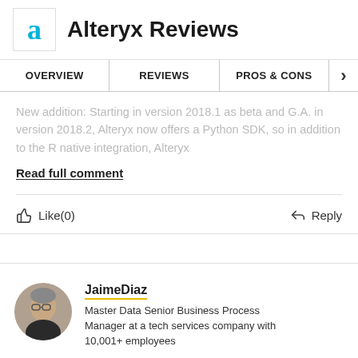Alteryx Reviews
OVERVIEW   REVIEWS   PROS & CONS
New addition: Starting in version 2018.1 as beta and G.A. in version 2018.2, Alteryx now offers a Python SDK, so in addition to the R native integration, Alteryx
Read full comment
Like(0)   Reply
[Figure (photo): Circular profile photo of JaimeDiaz, a middle-aged man]
JaimeDiaz
Master Data Senior Business Process Manager at a tech services company with 10,001+ employees